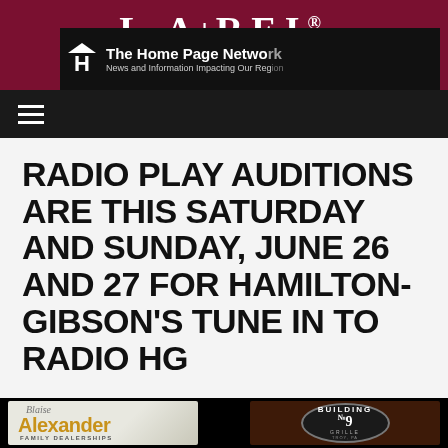[Figure (screenshot): LAUREL website header banner with dark red/maroon background and white serif text reading LAUREL with a registered trademark symbol]
[Figure (logo): The Home Page Network logo overlay on black bar — house icon with H letter, text: The Home Page Netwo[rk] / News and Information Impacting Our Reg[ion]]
RADIO PLAY AUDITIONS ARE THIS SATURDAY AND SUNDAY, JUNE 26 AND 27 FOR HAMILTON-GIBSON'S TUNE IN TO RADIO HG
[Figure (logo): Blaise Alexander Family Dealerships advertisement logo — script 'Blaise' above gold bold 'Alexander' with 'FAMILY DEALERSHIPS' below]
[Figure (logo): Building No. 9 Grille advertisement — oval badge on brick background with BUILDING #9 GRILLE TROY, PA text]